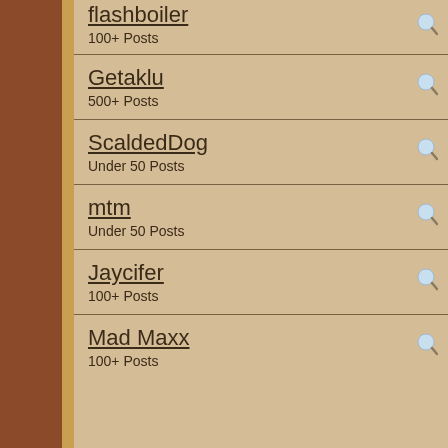flashboiler
100+ Posts
Getaklu
500+ Posts
ScaldedDog
Under 50 Posts
mtm
Under 50 Posts
Jaycifer
100+ Posts
Mad Maxx
100+ Posts